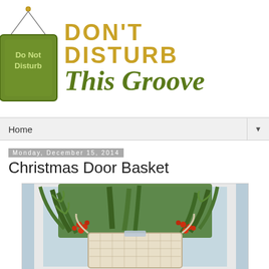[Figure (logo): Don't Disturb This Groove blog logo with a Do Not Disturb sign illustration and stylized text]
Home
Monday, December 15, 2014
Christmas Door Basket
[Figure (photo): A white wicker basket filled with green pine branches and red berries mounted on a door]